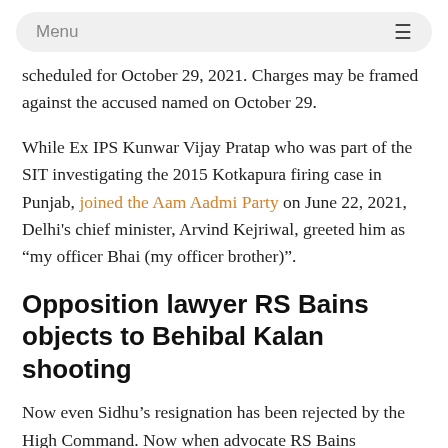Menu
scheduled for October 29, 2021. Charges may be framed against the accused named on October 29.
While Ex IPS Kunwar Vijay Pratap who was part of the SIT investigating the 2015 Kotkapura firing case in Punjab, joined the Aam Aadmi Party on June 22, 2021, Delhi's chief minister, Arvind Kejriwal, greeted him as “my officer Bhai (my officer brother)”.
Opposition lawyer RS Bains objects to Behibal Kalan shooting
Now even Sidhu’s resignation has been rejected by the High Command. Now when advocate RS Bains